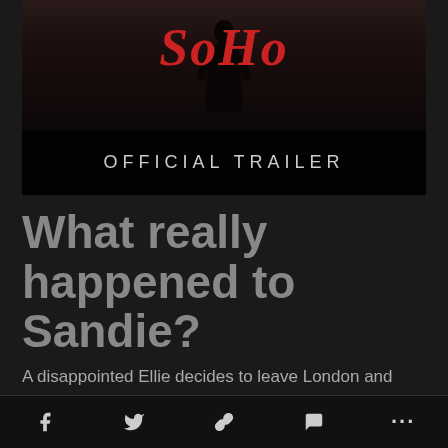[Figure (screenshot): Video thumbnail for a movie trailer. Shows the word 'SOHO' in red neon-style italic text, with a dark silhouette of a person and a brick background. A band at the bottom reads 'OFFICIAL TRAILER' in light grey spaced letters on a black background.]
What really happened to Sandie?
A disappointed Ellie decides to leave London and head back to her hometown. John drives her back to her bedsit
[Figure (infographic): Social media share bar with icons for Facebook, Twitter, link/chain, comment bubble, and more (...)]